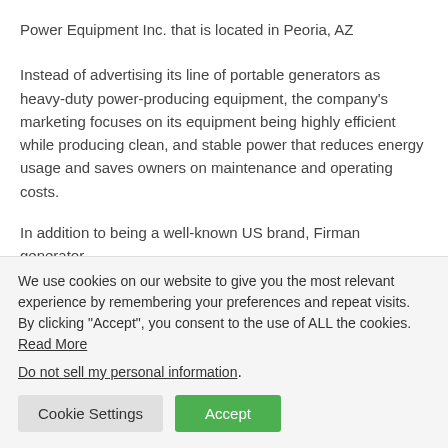Power Equipment Inc. that is located in Peoria, AZ
Instead of advertising its line of portable generators as heavy-duty power-producing equipment, the company’s marketing focuses on its equipment being highly efficient while producing clean, and stable power that reduces energy usage and saves owners on maintenance and operating costs.
In addition to being a well-known US brand, Firman generator
We use cookies on our website to give you the most relevant experience by remembering your preferences and repeat visits. By clicking “Accept”, you consent to the use of ALL the cookies. Read More
Do not sell my personal information.